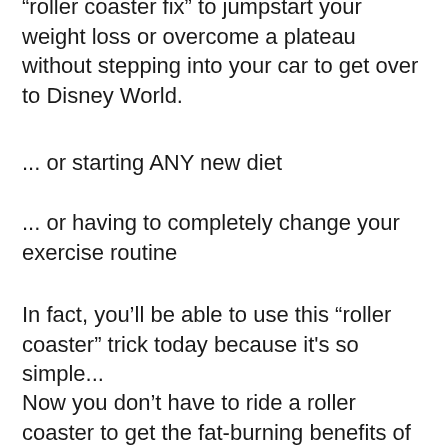“roller coaster fix” to jumpstart your weight loss or overcome a plateau without stepping into your car to get over to Disney World.
... or starting ANY new diet
... or having to completely change your exercise routine
In fact, you’ll be able to use this “roller coaster” trick today because it's so simple...
Now you don’t have to ride a roller coaster to get the fat-burning benefits of this untapped hormone. It’s rather